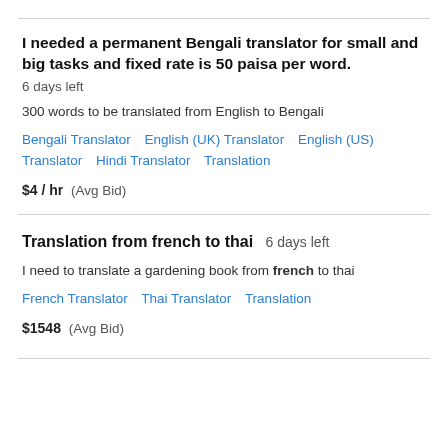I needed a permanent Bengali translator for small and big tasks and fixed rate is 50 paisa per word.
6 days left
300 words to be translated from English to Bengali
Bengali Translator   English (UK) Translator   English (US) Translator   Hindi Translator   Translation
$4 / hr  (Avg Bid)
Translation from french to thai  6 days left
I need to translate a gardening book from french to thai
French Translator   Thai Translator   Translation
$1548  (Avg Bid)